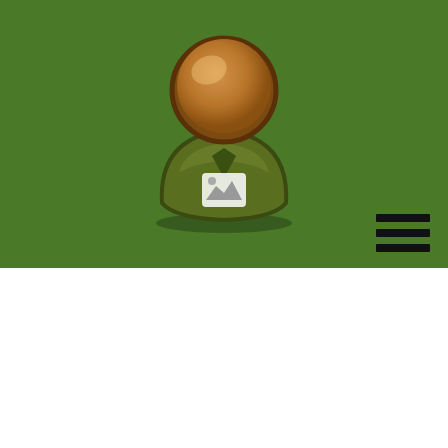[Figure (illustration): Green banner background with a stylized person/user avatar icon in the center. The avatar has a round golden/bronze head and a dark olive-green body shape, with a small white mountain/image icon on the body. A hamburger menu icon (three horizontal black bars) is in the bottom-right corner of the banner.]
FlyteVu is actually a female-led company plus one reason we were ideal furnished to guide this promotion. If I wouldn't made initial go on to start my very own business, FlyteVu would not are present.